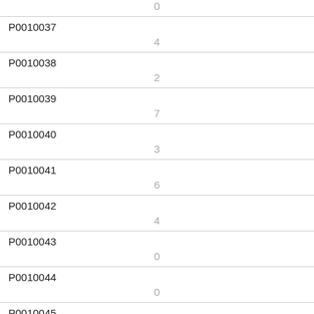| ID | Value |
| --- | --- |
|  | 0 |
| P0010037 | 4 |
| P0010038 | 2 |
| P0010039 | 7 |
| P0010040 | 3 |
| P0010041 | 6 |
| P0010042 | 4 |
| P0010043 | 0 |
| P0010044 | 0 |
| P0010045 | 1 |
| P0010046 | 1 |